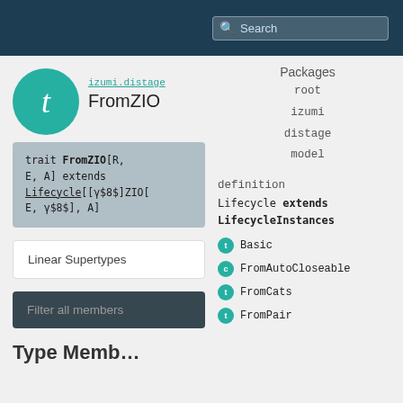Search
[Figure (logo): Teal circle with white lowercase 't' representing a Scala trait icon]
izumi.distage
FromZIO
Packages
root
izumi
distage
model
trait  FromZIO[R, E, A] extends Lifecycle[[γ$8$]ZIO[E, γ$8$], A]
Linear Supertypes
definition
Lifecycle extends LifecycleInstances
Basic
FromAutoCloseable
FromCats
FromPair
Filter all members
Type Memb…